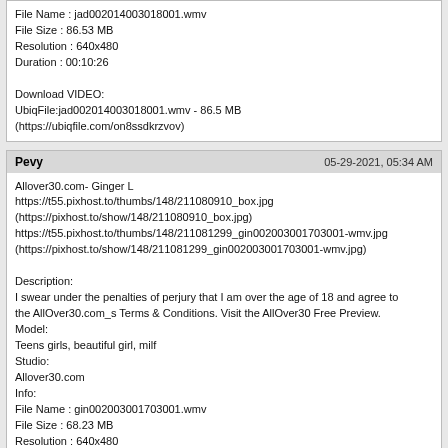File Name : jad002014003018001.wmv
File Size : 86.53 MB
Resolution : 640x480
Duration : 00:10:26

Download VIDEO:
UbiqFile:jad002014003018001.wmv - 86.5 MB
(https://ubiqfile.com/on8ssdkrzvov)
Pevy
05-29-2021, 05:34 AM
Allover30.com- Ginger L
https://t55.pixhost.to/thumbs/148/211080910_box.jpg
(https://pixhost.to/show/148/211080910_box.jpg)
https://t55.pixhost.to/thumbs/148/211081299_gin002003001703001-wmv.jpg
(https://pixhost.to/show/148/211081299_gin002003001703001-wmv.jpg)
Description:
I swear under the penalties of perjury that I am over the age of 18 and agree to the AllOver30.com_s Terms & Conditions. Visit the AllOver30 Free Preview.
Model:
Teens girls, beautiful girl, milf
Studio:
Allover30.com
Info:
File Name : gin002003001703001.wmv
File Size : 68.23 MB
Resolution : 640x480
Duration : 00:08:37

Download VIDEO:
UbiqFile:gin002003001703001.wmv - 68.2 MB
(https://ubiqfile.com/howv5hy0ydaq)
Pevy
05-29-2021, 05:36 AM